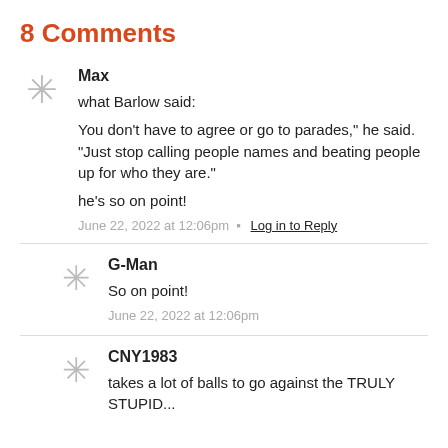8 Comments
Max
what Barlow said:
You don’t have to agree or go to parades,” he said. “Just stop calling people names and beating people up for who they are.”
he’s so on point!
June 22, 2022 at 12:06pm • Log in to Reply
G-Man
So on point!
June 22, 2022 at 12:06pm
CNY1983
takes a lot of balls to go against the TRULY STUPID...